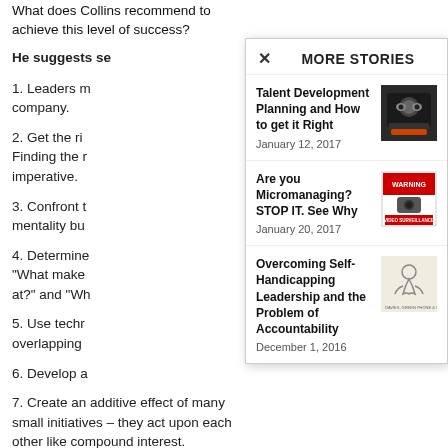What does Collins recommend to achieve this level of success?
He suggests se...
1. Leaders m... company.
2. Get the ri... imperative.
3. Confront t... mentality bu...
4. Determine... "What make... at?" and "Wh...
5. Use techn... overlapping...
6. Develop a...
7. Create an additive effect of many small initiatives – they act upon each other like compound interest.
MORE STORIES
[Figure (other): Story thumbnail: dog with binoculars in chair]
Talent Development Planning and How to get it Right
January 12, 2017
[Figure (other): Story thumbnail: Warning video surveillance sign]
Are you Micromanaging? STOP IT. See Why
January 20, 2017
[Figure (other): Story thumbnail: sketch illustration]
Overcoming Self-Handicapping Leadership and the Problem of Accountability
December 1, 2016